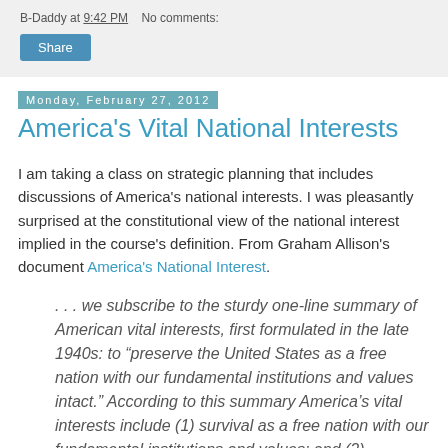B-Daddy at 9:42 PM   No comments:
Share
Monday, February 27, 2012
America's Vital National Interests
I am taking a class on strategic planning that includes discussions of America's national interests. I was pleasantly surprised at the constitutional view of the national interest implied in the course's definition. From Graham Allison's document America's National Interest.
. . . we subscribe to the sturdy one-line summary of American vital interests, first formulated in the late 1940s: to “preserve the United States as a free nation with our fundamental institutions and values intact.” According to this summary America’s vital interests include (1) survival as a free nation with our fundamental institutions and values; and (2)